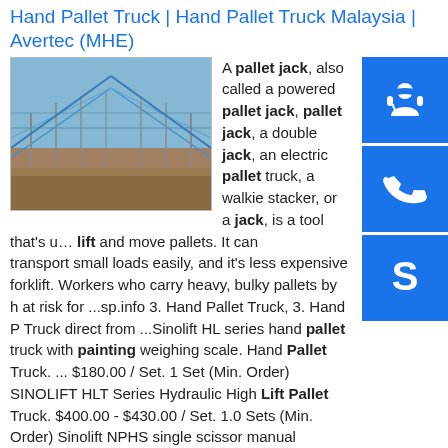Hand Pallet Truck | Hand Pallet Truck Malaysia | Avertec (MHE)
[Figure (photo): Warehouse interior with steel frame structure and blue roof, viewed from ground level showing long rows of columns.]
A pallet jack, also called a powered pallet jack, pallet jack, a double jack, an electric pallet truck, a walkie stacker, or a jack, is a tool that's used to lift and move pallets. It can transport small loads easily, and it's less expensive forklift. Workers who carry heavy, bulky pallets by h at risk for ...sp.info 3. Hand Pallet Truck, 3. Hand P Truck direct from ...Sinolift HL series hand pallet truck with painting weighing scale. Hand Pallet Truck. ... $180.00 / Set. 1 Set (Min. Order) SINOLIFT HLT Series Hydraulic High Lift Pallet Truck. $400.00 - $430.00 / Set. 1.0 Sets (Min. Order) Sinolift NPHS single scissor manual hydraulic pallet jack. Ready to Ship. $1,250.00 - $1,320.00 / Unit. 1 Unit (Min ...sp.info A wide selection of Electric Walkie